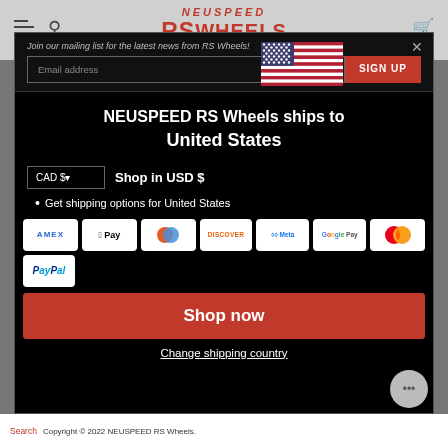[Figure (screenshot): NEUSPEED RS Wheels website header with hamburger menu, search icon, logo, and cart icon]
Join our mailing list for the latest news from RS Wheels!
Email address
SIGN UP
[Figure (illustration): US flag icon]
NEUSPEED RS Wheels ships to United States
CAD $
Shop in USD $
Get shipping options for United States
[Figure (infographic): Payment method icons: AMEX, Apple Pay, Diners, Discover, Meta Pay, Google Pay, Mastercard, PayPal]
Shop now
Change shipping country
Search
Copyright © 2022 NEUSPEED RS Wheels.